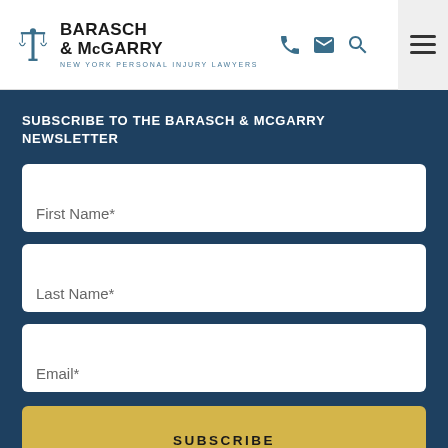BARASCH & McGARRY — NEW YORK PERSONAL INJURY LAWYERS (logo/nav header)
SUBSCRIBE TO THE BARASCH & MCGARRY NEWSLETTER
First Name*
Last Name*
Email*
SUBSCRIBE